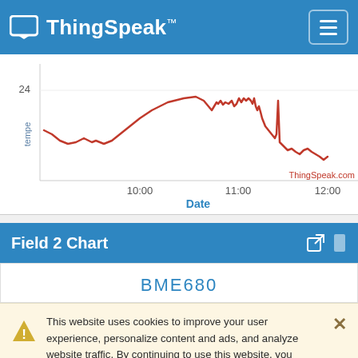ThingSpeak™
[Figure (continuous-plot): Temperature line chart showing data from approximately 9:30 to 12:00, with a red continuous line. Y-axis labeled 'tempe' with value 24 visible. X-axis labeled 'Date' with ticks at 10:00, 11:00, 12:00. ThingSpeak.com watermark in bottom right.]
Field 2 Chart
BME680
This website uses cookies to improve your user experience, personalize content and ads, and analyze website traffic. By continuing to use this website, you consent to our use of cookies. Please see our Privacy Policy to learn more about cookies and how to change your settings.